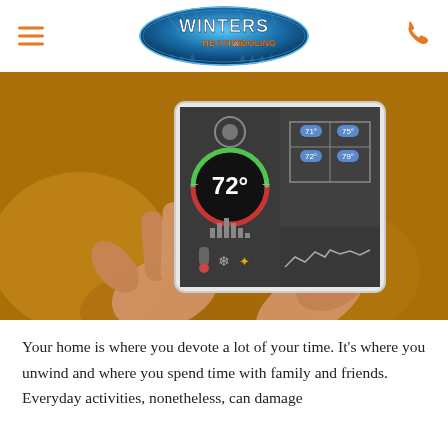[Figure (logo): Winters Heating & Cooling oval logo with blue icy background and orange text]
[Figure (photo): Hands holding a tablet showing a smart thermostat app with 72 degrees displayed and floor plan with temperature zones]
Your home is where you devote a lot of your time. It's where you unwind and where you spend time with family and friends. Everyday activities, nonetheless, can damage